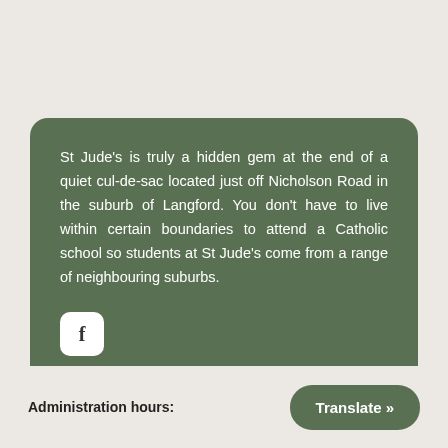St Jude's is truly a hidden gem at the end of a quiet cul-de-sac located just off Nicholson Road in the suburb of Langford. You don't have to live within certain boundaries to attend a Catholic school so students at St Jude's come from a range of neighbouring suburbs.
[Figure (logo): Facebook icon button — white rounded square with letter f]
Administration hours:
Translate »